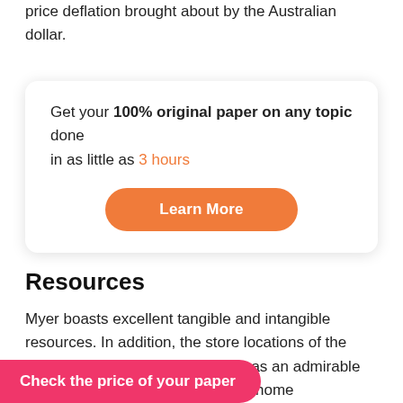price deflation brought about by the Australian dollar.
Get your 100% original paper on any topic done in as little as 3 hours
Learn More
Resources
Myer boasts excellent tangible and intangible resources. In addition, the store locations of the company are outstanding and it has an admirable availability of its raw materials via home manufacturing as well as use of technology to collect varied information regarding intended clients and resources include:
Check the price of your paper